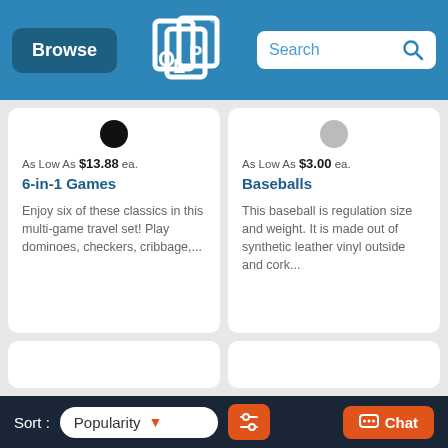Browse | Search
As Low As $13.88 ea. 6-in-1 Games Enjoy six of these classics in this multi-game travel set! Play dominoes, checkers, cribbage,...
As Low As $3.00 ea. Baseballs This baseball is regulation size and weight. It is made out of synthetic leather vinyl outside and cork...
Sort: Popularity | Chat